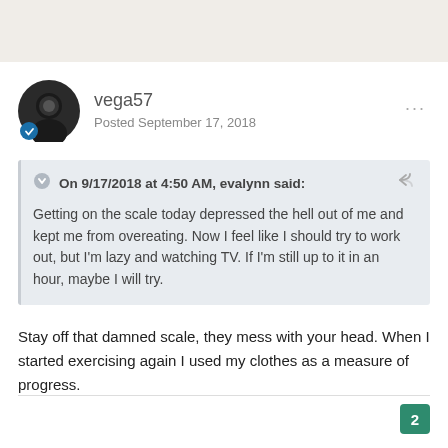[Figure (illustration): User avatar with blue badge showing a dark silhouette profile icon]
vega57
Posted September 17, 2018
On 9/17/2018 at 4:50 AM, evalynn said:
Getting on the scale today depressed the hell out of me and kept me from overeating. Now I feel like I should try to work out, but I'm lazy and watching TV. If I'm still up to it in an hour, maybe I will try.
Stay off that damned scale, they mess with your head. When I started exercising again I used my clothes as a measure of progress.